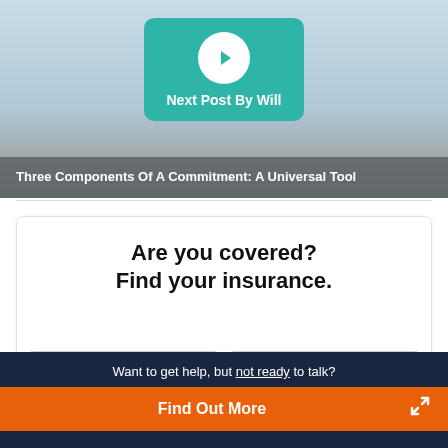[Figure (screenshot): Teal navigation button labeled 'Next Post By Will' with a white circle arrow icon, over a sky/cloud background image]
Three Components Of A Commitment: A Universal Tool
Are you covered?
Find your insurance.
Want to get help, but not ready to talk?
Find Out More